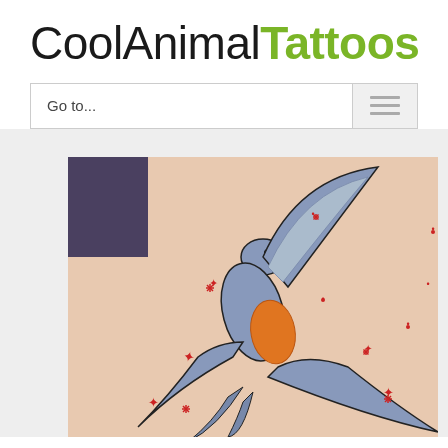CoolAnimalTattoos
Go to...
[Figure (photo): Close-up photo of a swallow bird tattoo on skin, showing a blue/grey swallow in flight with orange breast, surrounded by small red star/asterisk decorations scattered across the skin background.]